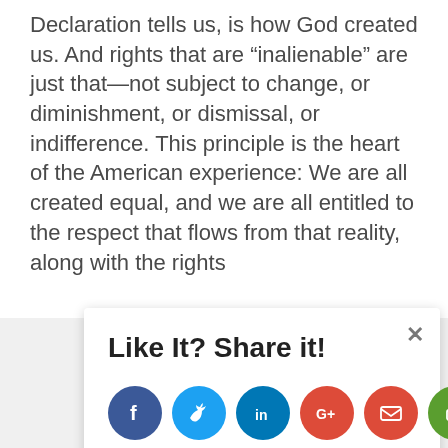Declaration tells us, is how God created us.  And rights that are “inalienable” are just that—not subject to change, or diminishment, or dismissal, or indifference. This principle is the heart of the American experience: We are all created equal, and we are all entitled to the respect that flows from that reality, along with the rights
Like It? Share it!